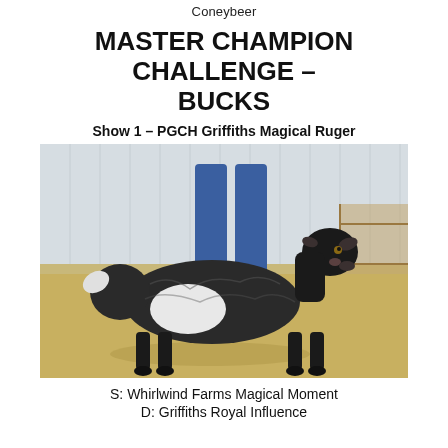Coneybeer
MASTER CHAMPION CHALLENGE – BUCKS
Show 1 – PGCH Griffiths Magical Ruger
[Figure (photo): A black and white pygmy goat standing in profile on straw/sand flooring inside a barn, with a person's legs visible behind it wearing blue jeans and grey shoes.]
S: Whirlwind Farms Magical Moment
D: Griffiths Royal Influence